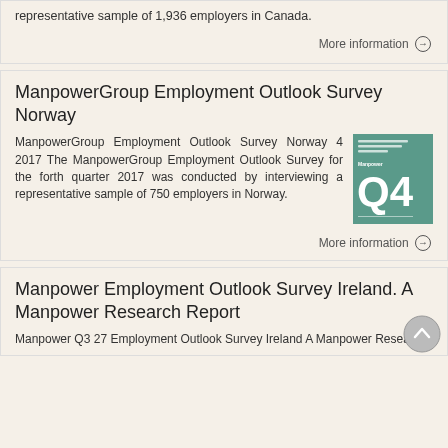representative sample of 1,936 employers in Canada.
More information →
ManpowerGroup Employment Outlook Survey Norway
ManpowerGroup Employment Outlook Survey Norway 4 2017 The ManpowerGroup Employment Outlook Survey for the forth quarter 2017 was conducted by interviewing a representative sample of 750 employers in Norway.
[Figure (illustration): Green book cover showing Q4 2017 ManpowerGroup Employment Outlook Survey]
More information →
Manpower Employment Outlook Survey Ireland. A Manpower Research Report
Manpower Q3 27 Employment Outlook Survey Ireland A Manpower Research